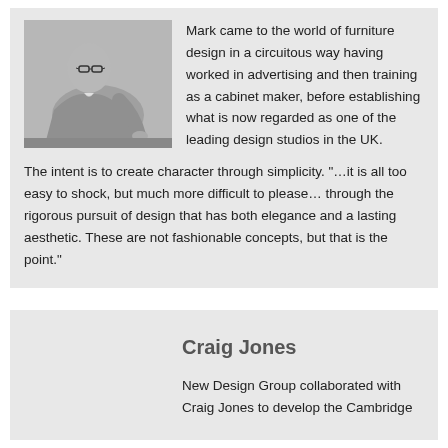[Figure (photo): Black and white photograph of a man wearing glasses and a blazer, leaning over a desk or table, working.]
Mark came to the world of furniture design in a circuitous way having worked in advertising and then training as a cabinet maker, before establishing what is now regarded as one of the leading design studios in the UK. The intent is to create character through simplicity. "…it is all too easy to shock, but much more difficult to please… through the rigorous pursuit of design that has both elegance and a lasting aesthetic. These are not fashionable concepts, but that is the point."
Craig Jones
New Design Group collaborated with Craig Jones to develop the Cambridge